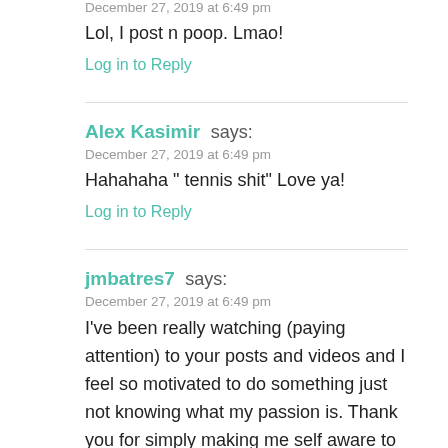December 27, 2019 at 6:49 pm
Lol, I post n poop. Lmao!
Log in to Reply
Alex Kasimir says:
December 27, 2019 at 6:49 pm
Hahahaha " tennis shit" Love ya!
Log in to Reply
jmbatres7 says:
December 27, 2019 at 6:49 pm
I've been really watching (paying attention) to your posts and videos and I feel so motivated to do something just not knowing what my passion is. Thank you for simply making me self aware to work hard and stop giving into my short term wants. Mad